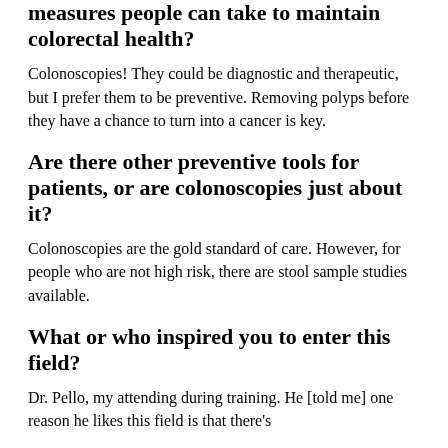measures people can take to maintain colorectal health?
Colonoscopies! They could be diagnostic and therapeutic, but I prefer them to be preventive. Removing polyps before they have a chance to turn into a cancer is key.
Are there other preventive tools for patients, or are colonoscopies just about it?
Colonoscopies are the gold standard of care. However, for people who are not high risk, there are stool sample studies available.
What or who inspired you to enter this field?
Dr. Pello, my attending during training. He [told me] one reason he likes this field is that there's